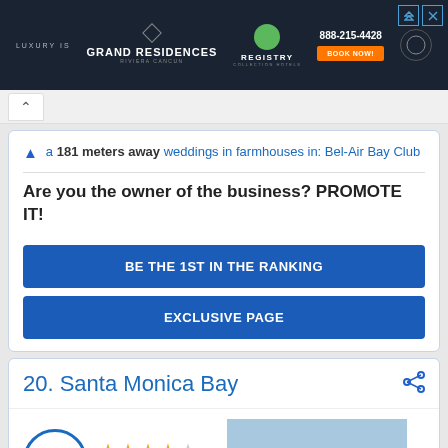[Figure (photo): Grand Residences Riviera Cancun advertisement banner with hotel logo, Registry Collection Hotels logo, phone number 888-215-4428, and Book Now button]
a 181 meters away weddings in farmhouses in: Bel-Air Bay Club
Are you the owner of the business? PROMOTE IT!
BE THE 1ST IN THE RANKING
EXCLUSIVE PAGE
20. Santa Monica Bay
4  ★★★★☆  12 reviews